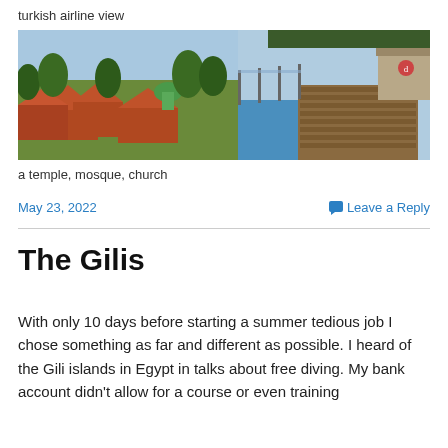turkish airline view
[Figure (photo): Panoramic aerial photo showing a Balinese village with orange-roofed temples, green trees, a mosque with green dome, and a rooftop pool area with wooden decking and glass railing on the right side.]
a temple, mosque, church
May 23, 2022
Leave a Reply
The Gilis
With only 10 days before starting a summer tedious job I chose something as far and different as possible. I heard of the Gili islands in Egypt in talks about free diving. My bank account didn't allow for a course or even training